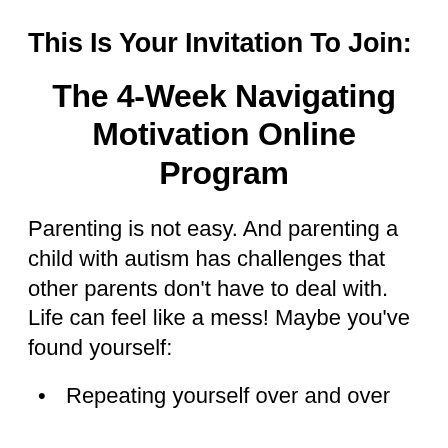This Is Your Invitation To Join:
The 4-Week Navigating Motivation Online Program
Parenting is not easy.  And parenting a child with autism has challenges that other parents don't have to deal with.  Life can feel like a mess!  Maybe you've found yourself:
Repeating yourself over and over